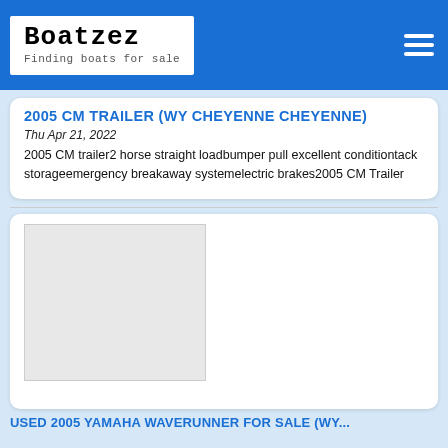Boatzez - Finding boats for sale
2005 CM TRAILER (WY CHEYENNE CHEYENNE)
Thu Apr 21, 2022
2005 CM trailer2 horse straight loadbumper pull excellent conditiontack storageemergency breakaway systemelectric brakes2005 CM Trailer
[Figure (photo): Placeholder image box, gray, no image loaded]
USED 2005 YAMAHA WAVERUNNER FOR SALE (WY...